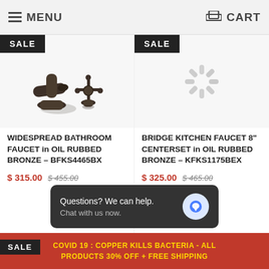MENU  CART
[Figure (photo): Oil rubbed bronze widespread bathroom faucet with cross handle]
WIDESPREAD BATHROOM FAUCET in OIL RUBBED BRONZE – BFKS4465BX
$ 315.00  $ 455.00
[Figure (other): Loading spinner / placeholder image for second product]
BRIDGE KITCHEN FAUCET 8" CENTERSET in OIL RUBBED BRONZE – KFKS1175BEX
$ 325.00  $ 465.00
[Figure (other): Loading spinner placeholder for third product]
[Figure (other): Loading spinner placeholder for fourth product]
Questions? We can help. Chat with us now.
COVID 19 : COPPER KILLS BACTERIA - ALL PRODUCTS 30% OFF + FREE SHIPPING